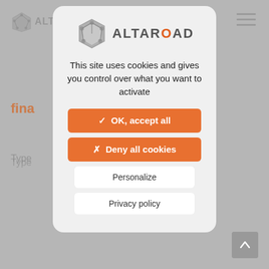[Figure (screenshot): Background website page showing Altaroad logo, navigation, and partially visible content with orange section headers and gray text, dimmed behind a modal overlay]
[Figure (logo): Altaroad logo: geometric diamond/pentagon shape in gray with network nodes, followed by text ALTAROAD with orange O]
This site uses cookies and gives you control over what you want to activate
✓ OK, accept all
✗ Deny all cookies
Personalize
Privacy policy